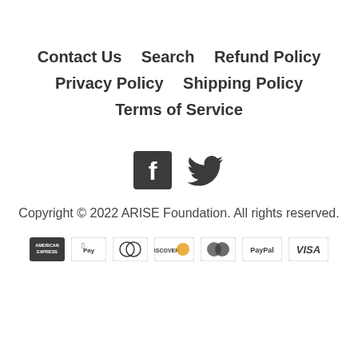Contact Us
Search
Refund Policy
Privacy Policy
Shipping Policy
Terms of Service
[Figure (infographic): Facebook and Twitter social media icons]
Copyright © 2022 ARISE Foundation. All rights reserved.
[Figure (infographic): Payment method icons: American Express, Apple Pay, Diners Club, Discover, Mastercard, PayPal, Visa]